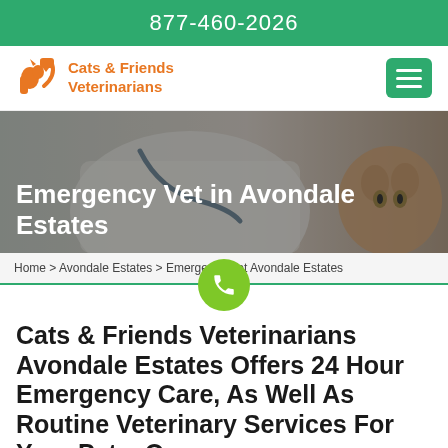877-460-2026
[Figure (logo): Cats & Friends Veterinarians logo with orange squirrel/cat icon and orange text]
[Figure (photo): Hero image of a veterinarian in white coat with stethoscope and a tabby cat, with dark overlay]
Emergency Vet in Avondale Estates
Home > Avondale Estates > Emergency Vet Avondale Estates
Cats & Friends Veterinarians Avondale Estates Offers 24 Hour Emergency Care, As Well As Routine Veterinary Services For Your Pets. Our